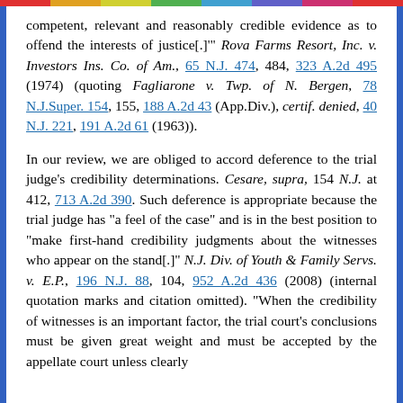competent, relevant and reasonably credible evidence as to offend the interests of justice[.]'" Rova Farms Resort, Inc. v. Investors Ins. Co. of Am., 65 N.J. 474, 484, 323 A.2d 495 (1974) (quoting Fagliarone v. Twp. of N. Bergen, 78 N.J.Super. 154, 155, 188 A.2d 43 (App.Div.), certif. denied, 40 N.J. 221, 191 A.2d 61 (1963)).
In our review, we are obliged to accord deference to the trial judge's credibility determinations. Cesare, supra, 154 N.J. at 412, 713 A.2d 390. Such deference is appropriate because the trial judge has "a feel of the case" and is in the best position to "make first-hand credibility judgments about the witnesses who appear on the stand[.]" N.J. Div. of Youth & Family Servs. v. E.P., 196 N.J. 88, 104, 952 A.2d 436 (2008) (internal quotation marks and citation omitted). "When the credibility of witnesses is an important factor, the trial court's conclusions must be given great weight and must be accepted by the appellate court unless clearly